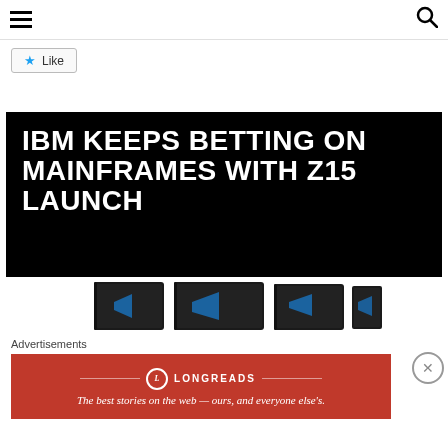Navigation bar with hamburger menu and search icon
[Figure (other): Like button widget with blue star icon and 'Like' text, followed by 'Be the first to like this.' text below]
[Figure (other): Black background article hero image with white bold uppercase text: IBM KEEPS BETTING ON MAINFRAMES WITH Z15 LAUNCH]
[Figure (photo): IBM z15 mainframe hardware units shown in a row, dark chassis with blue accent lines]
Advertisements
[Figure (other): Longreads advertisement banner on red background: 'The best stories on the web — ours, and everyone else's.']